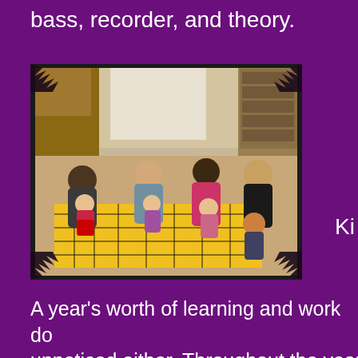bass, recorder, and theory.
[Figure (photo): Group of parents and young children sitting on a yellow plaid blanket on the floor in a classroom setting, engaged in a music or play activity.]
Ki
A year's worth of learning and work do... unnoticed either. Throughout the year t... opportunities to showcase our students... parents and the public, especially with... Performance Studios Concert